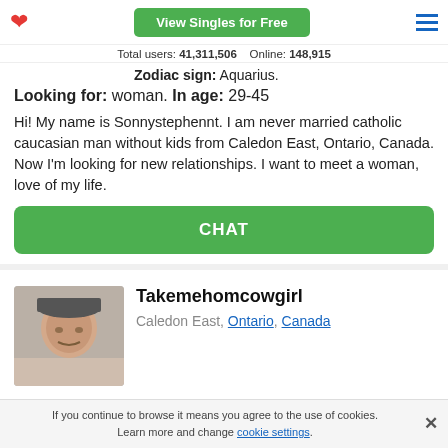View Singles for Free
Total users: 41,311,506   Online: 148,915
Zodiac sign: Aquarius.
Looking for: woman. In age: 29-45
Hi! My name is Sonnystephennt. I am never married catholic caucasian man without kids from Caledon East, Ontario, Canada. Now I'm looking for new relationships. I want to meet a woman, love of my life.
CHAT
Takemehomcowgirl
Caledon East, Ontario, Canada
If you continue to browse it means you agree to the use of cookies. Learn more and change cookie settings.